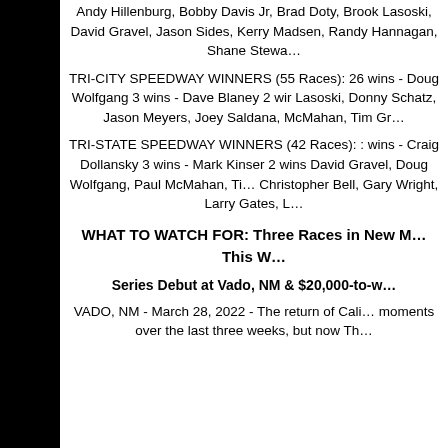Andy Hillenburg, Bobby Davis Jr, Brad Doty, Brook Lasoski, David Gravel, Jason Sides, Kerry Madsen, Randy Hannagan, Shane Stewa...
TRI-CITY SPEEDWAY WINNERS (55 Races): 26 wins - Doug Wolfgang 3 wins - Dave Blaney 2 wins - Lasoski, Donny Schatz, Jason Meyers, Joey Saldana, McMahan, Tim Gr...
TRI-STATE SPEEDWAY WINNERS (42 Races): wins - Craig Dollansky 3 wins - Mark Kinser 2 wins - David Gravel, Doug Wolfgang, Paul McMahan, Ti... Christopher Bell, Gary Wright, Larry Gates, L...
WHAT TO WATCH FOR: Three Races in New M... This W...
Series Debut at Vado, NM & $20,000-to-w...
VADO, NM - March 28, 2022 - The return of Cali... moments over the last three weeks, but now Th...